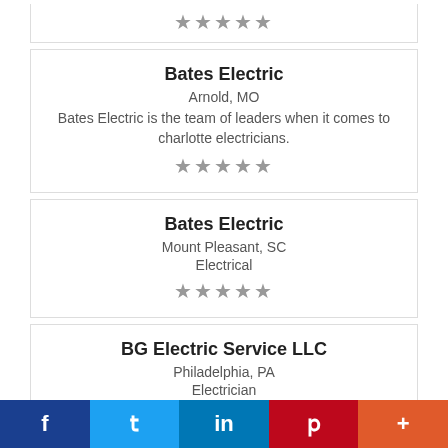★★★★★
Bates Electric
Arnold, MO
Bates Electric is the team of leaders when it comes to charlotte electricians.
★★★★★
Bates Electric
Mount Pleasant, SC
Electrical
★★★★★
BG Electric Service LLC
Philadelphia, PA
Electrician